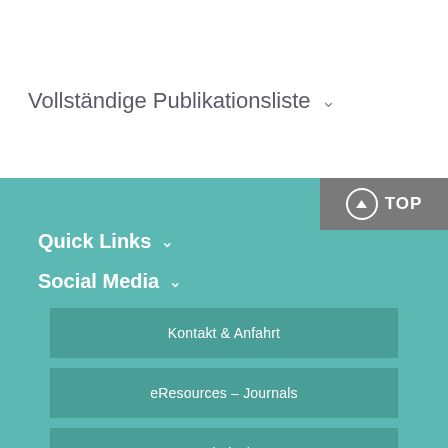Vollständige Publikationsliste ∨
Quick Links ∨
Social Media ∨
Kontakt & Anfahrt
eResources – Journals
Helpdesk
Intranet